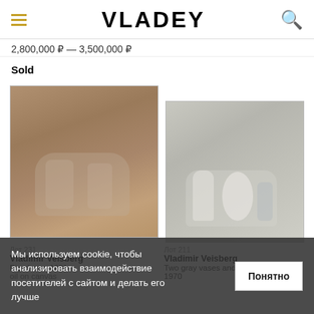VLADEY
2,800,000 ₽ — 3,500,000 ₽
Sold
[Figure (photo): Painting by Vladimir Veisberg, Big chaos, 1981, oil on canvas. Warm brown/tan tones with faint ghostly white shapes.]
[Figure (photo): Painting by Vladimir Veisberg, Two gray vases and a white bottle, 1970. Cool gray tones with white vessel shapes visible.]
Лот 231
Vladimir Veisberg
Big chaos, 1981
oil on canvas
Лот 211
Vladimir Veisberg
Two gray vases and a white bottle, 1970
Мы используем cookie, чтобы анализировать взаимодействие посетителей с сайтом и делать его лучше
Понятно